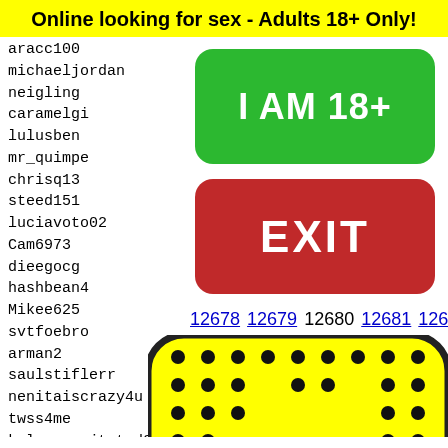Online looking for sex - Adults 18+ Only!
aracc100
michaeljordan
neigling
caramelgi...
lulusbenc...
mr_quimpe...
chrisq13
steed151
luciavoto02
Cam6973
dieegocg
hashbean4...
Mikee625
svtfoebro...
arman2
saulstiflerr
nenitaiscrazy4u
twss4me
kalamazoojtstud022
raulalvarado14
perysa
future...
nicoba...
lilbre...
hthier...
naviga...
[Figure (other): Green button with text I AM 18+]
[Figure (other): Red button with text EXIT]
12678 12679 12680 12681 12682
[Figure (illustration): Yellow emoji/smiley face with black dots pattern]